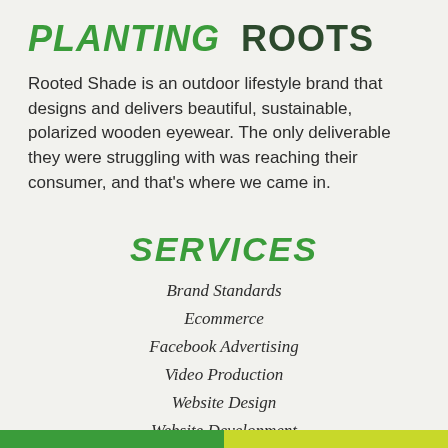PLANTING ROOTS
Rooted Shade is an outdoor lifestyle brand that designs and delivers beautiful, sustainable, polarized wooden eyewear. The only deliverable they were struggling with was reaching their consumer, and that's where we came in.
SERVICES
Brand Standards
Ecommerce
Facebook Advertising
Video Production
Website Design
Website Development